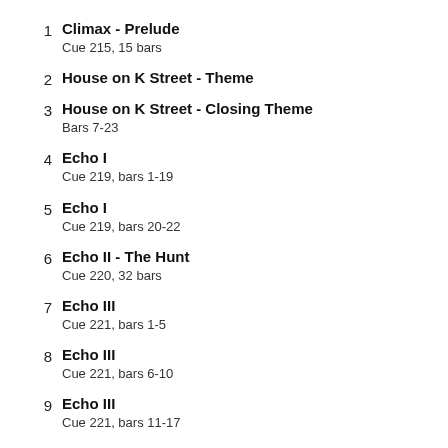1 Climax - Prelude
Cue 215, 15 bars
2 House on K Street - Theme
3 House on K Street - Closing Theme
Bars 7-23
4 Echo I
Cue 219, bars 1-19
5 Echo I
Cue 219, bars 20-22
6 Echo II - The Hunt
Cue 220, 32 bars
7 Echo III
Cue 221, bars 1-5
8 Echo III
Cue 221, bars 6-10
9 Echo III
Cue 221, bars 11-17
10 Indian Suspense
11 Middle Lead-in (Climatic Lead-in)